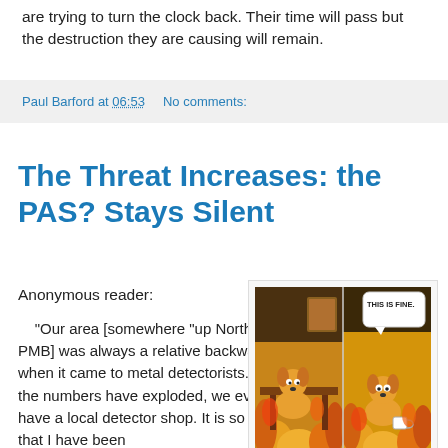are trying to turn the clock back. Their time will pass but the destruction they are causing will remain.
Paul Barford at 06:53    No comments:
The Threat Increases: the PAS? Stays Silent
Anonymous reader:
"Our area [somewhere "up North" PMB] was always a relative backwater when it came to metal detectorists. Now the numbers have exploded, we even have a local detector shop. It is so bad that I have been
[Figure (illustration): Two-panel 'This is Fine' meme showing a cartoon dog sitting in a room on fire. Left panel: dog surrounded by flames. Right panel: dog with speech bubble saying 'THIS IS FINE.']
UK Archaeologist: "This is fine..."